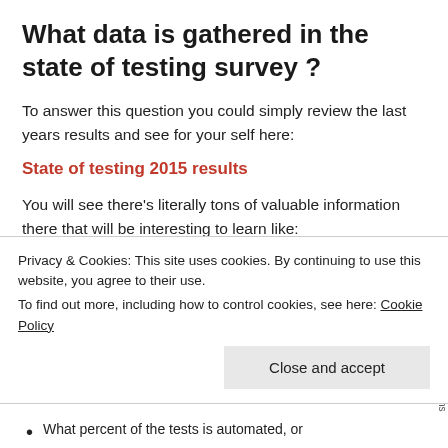What data is gathered in the state of testing survey ?
To answer this question you could simply review the last years results and see for your self here:
State of testing 2015 results
You will see there’s literally tons of valuable information there that will be interesting to learn like:
How are testing professionals split around the world?
Privacy & Cookies: This site uses cookies. By continuing to use this website, you agree to their use.
To find out more, including how to control cookies, see here: Cookie Policy
What percent of the tests is automated, or...